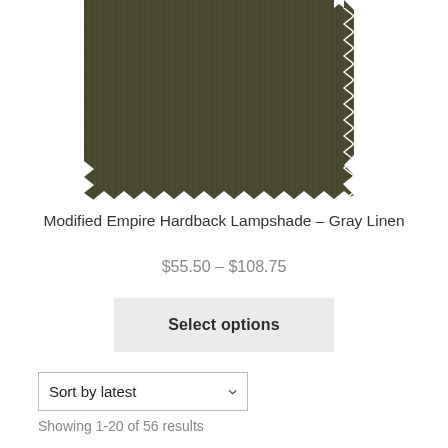[Figure (photo): A fabric swatch sample in dark olive/gray-green linen texture with zigzag cut edges on the bottom and right sides.]
Modified Empire Hardback Lampshade – Gray Linen
$55.50 – $108.75
Select options
Sort by latest
Showing 1-20 of 56 results